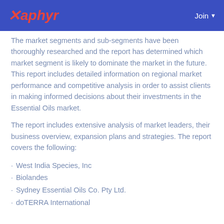Xaphyr | Join
The market segments and sub-segments have been thoroughly researched and the report has determined which market segment is likely to dominate the market in the future. This report includes detailed information on regional market performance and competitive analysis in order to assist clients in making informed decisions about their investments in the Essential Oils market.
The report includes extensive analysis of market leaders, their business overview, expansion plans and strategies. The report covers the following:
West India Species, Inc
Biolandes
Sydney Essential Oils Co. Pty Ltd.
doTERRA International